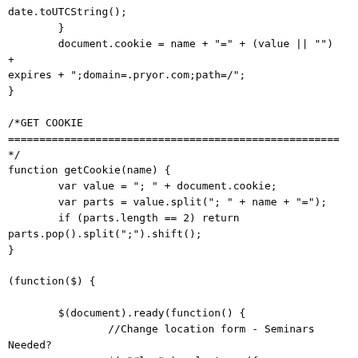date.toUTCString();
        }
        document.cookie = name + "=" + (value || "")  +
expires + ";domain=.pryor.com;path=/";
}

/*GET COOKIE
=====================================================
*/
function getCookie(name) {
        var value = "; " + document.cookie;
        var parts = value.split("; " + name + "=");
        if (parts.length == 2) return
parts.pop().split(";").shift();
}

(function($) {

        $(document).ready(function() {
                //Change location form - Seminars
Needed?
                $( "#loc" ).selectmenu({

                }).selectmenu( "menuWidget" ).addClass(
"select-overflow" );

                //Populates State Select Dropdown -
Seminars Needed?
                for(var i = 0; i < states.length; i++)
{